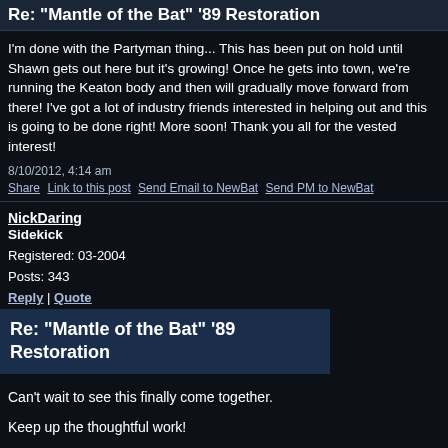Re: "Mantle of the Bat" '89 Restoration
I'm done with the Partyman thing... This has been put on hold until Shawn gets out here but it's growing! Once he gets into town, we're running the Keaton body and then will gradually move forward from there! I've got a lot of industry friends interested in helping out and this is going to be done right! More soon! Thank you all for the vested interest!
8/10/2012, 4:14 am
Share  Link to this post  Send Email to NewBat  Send PM to NewBat
NickDaring
Sidekick
Registered: 03-2004
Posts: 343
Reply | Quote
Re: "Mantle of the Bat" '89 Restoration
Can't wait to see this finally come together.
Keep up the thoughtful work!
Nick